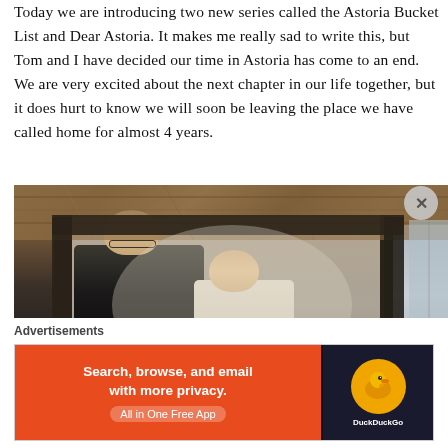Today we are introducing two new series called the Astoria Bucket List and Dear Astoria. It makes me really sad to write this, but Tom and I have decided our time in Astoria has come to an end. We are very excited about the next chapter in our life together, but it does hurt to know we will soon be leaving the place we have called home for almost 4 years.
[Figure (photo): A couple (groom in dark suit with glasses and bride with floral hair accessory) standing in a doorway of a rustic wooden building, shot from behind/profile.]
Advertisements
[Figure (other): DuckDuckGo advertisement banner: 'Search, browse, and email with more privacy. All in One Free App' on orange background with DuckDuckGo logo on dark background.]